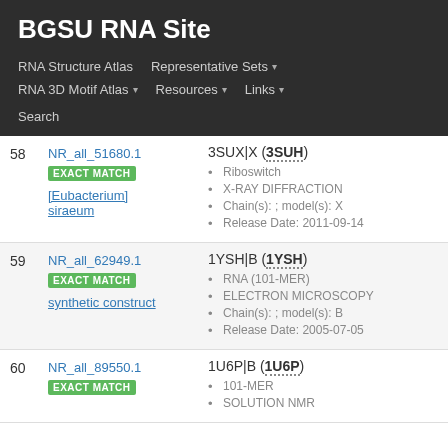BGSU RNA Site
RNA Structure Atlas | Representative Sets ▾ | RNA 3D Motif Atlas ▾ | Resources ▾ | Links ▾ | Search
| # | ID | Details |
| --- | --- | --- |
| 58 | NR_all_51680.1
EXACT MATCH
[Eubacterium] siraeum | 3SUX|X (3SUH)
• Riboswitch
• X-RAY DIFFRACTION
• Chain(s): ; model(s): X
• Release Date: 2011-09-14 |
| 59 | NR_all_62949.1
EXACT MATCH
synthetic construct | 1YSH|B (1YSH)
• RNA (101-MER)
• ELECTRON MICROSCOPY
• Chain(s): ; model(s): B
• Release Date: 2005-07-05 |
| 60 | NR_all_89550.1
EXACT MATCH | 1U6P|B (1U6P)
• 101-MER
• SOLUTION NMR |